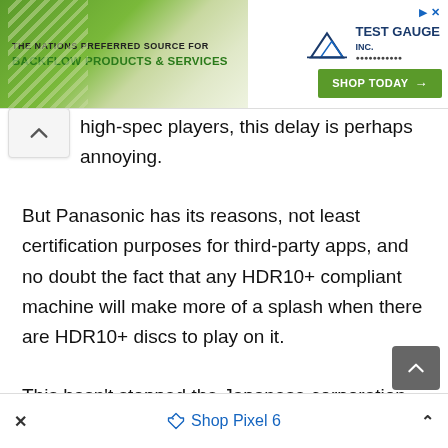[Figure (screenshot): Advertisement banner for Test Gauge Inc. — 'The Nation's Preferred Source for Backflow Products & Services' with a 'Shop Today' button, close icons, and diagonal stripe graphic on a green background.]
high-spec players, this delay is perhaps annoying.
But Panasonic has its reasons, not least certification purposes for third-party apps, and no doubt the fact that any HDR10+ compliant machine will make more of a splash when there are HDR10+ discs to play on it.
This hasn't stopped the Japanese corporation showcasing the UB9000 to the world's technology
[Figure (screenshot): Bottom advertisement bar for Shop Pixel 6 with a diamond/tag icon, close X button on the left, and chevron-up on the right.]